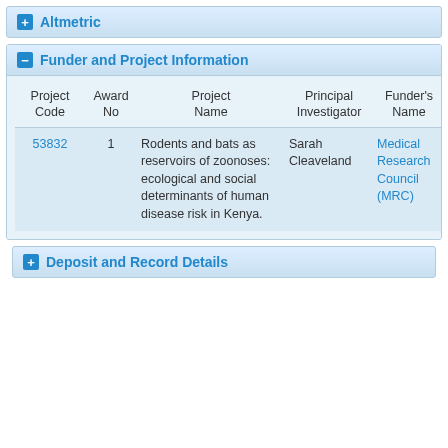Altmetric
Funder and Project Information
| Project Code | Award No | Project Name | Principal Investigator | Funder's Name | Funder Ref | L... |
| --- | --- | --- | --- | --- | --- | --- |
| 53832 | 1 | Rodents and bats as reservoirs of zoonoses: ecological and social determinants of human disease risk in Kenya. | Sarah Cleaveland | Medical Research Council (MRC) | G0902417RI... | BIO... AN... HE... CO... |
Deposit and Record Details